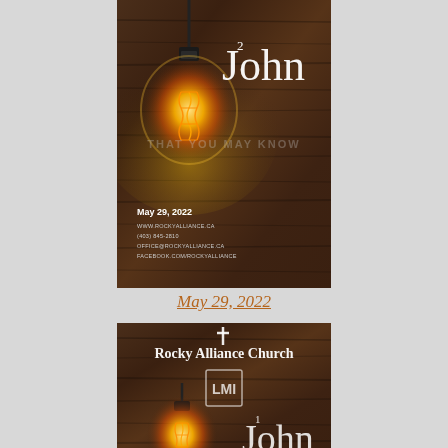[Figure (illustration): Church bulletin cover for Rocky Alliance Church showing '2 John' sermon series with glowing vintage Edison bulb against dark wood plank background. Shows date May 29, 2022 and contact information including www.rockyalliance.ca, (403) 845-2810, office@rockyalliance.ca, facebook.com/rockyalliance. Watermark text 'THAT YOU MAY KNOW' visible across middle.]
May 29, 2022
[Figure (illustration): Church logo image for Rocky Alliance Church showing '1 John' series with glowing vintage Edison bulb against dark wood plank background. Shows Rocky Alliance Church text with cross logo and LMI emblem.]